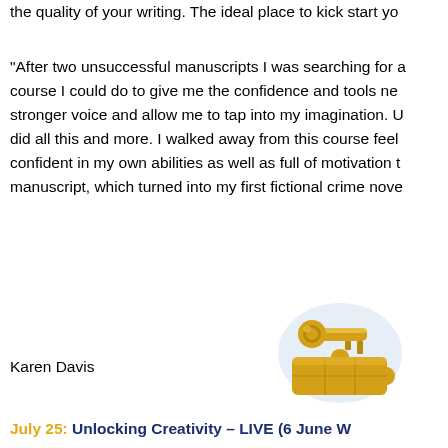the quality of your writing. The ideal place to kick start yo
“After two unsuccessful manuscripts I was searching for a course I could do to give me the confidence and tools ne stronger voice and allow me to tap into my imagination. U did all this and more. I walked away from this course feel confident in my own abilities as well as full of motivation t manuscript, which turned into my first fictional crime nove
Karen Davis
[Figure (illustration): A golden key on top of a golden puzzle piece, symbolic image for unlocking creativity]
July 25: Unlocking Creativity – LIVE (6 June W